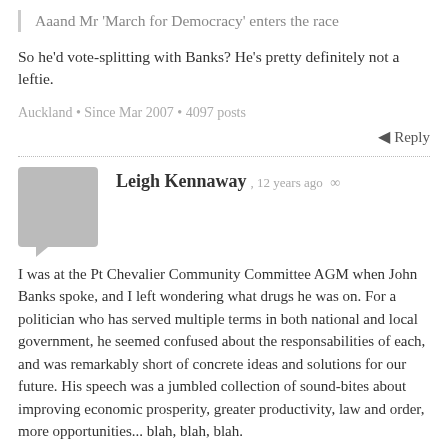Aaand Mr 'March for Democracy' enters the race
So he'd vote-splitting with Banks? He's pretty definitely not a leftie.
Auckland • Since Mar 2007 • 4097 posts
Reply
Leigh Kennaway, 12 years ago ∞
I was at the Pt Chevalier Community Committee AGM when John Banks spoke, and I left wondering what drugs he was on. For a politician who has served multiple terms in both national and local government, he seemed confused about the responsabilities of each, and was remarkably short of concrete ideas and solutions for our future. His speech was a jumbled collection of sound-bites about improving economic prosperity, greater productivity, law and order, more opportunities... blah, blah, blah.
As for his ridiculous whine about the audience